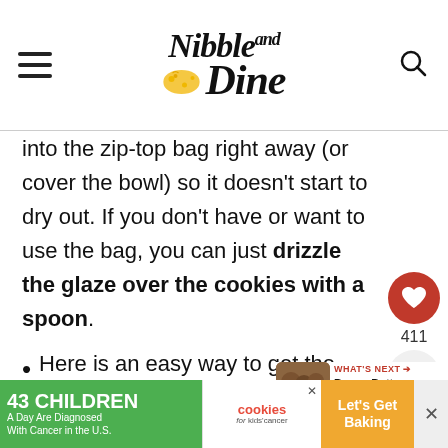Nibble and Dine
into the zip-top bag right away (or cover the bowl) so it doesn't start to dry out. If you don't have or want to use the bag, you can just drizzle the glaze over the cookies with a spoon.
Here is an easy way to get the glaze into the zip-top bag making a mess. Grab the corner of
[Figure (infographic): WHAT'S NEXT arrow - Brown Butter Apple Muffins with thumbnail image]
43 CHILDREN A Day Are Diagnosed With Cancer in the U.S. | cookies for kids' cancer | Let's Get Baking